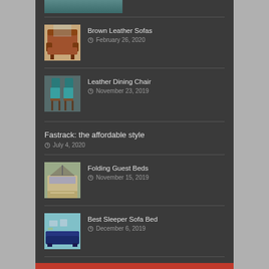[Figure (photo): Partial thumbnail image of a teal/green item, cropped at top]
Brown Leather Sofas
February 26, 2020
Leather Dining Chair
November 23, 2019
Fastrack: the affordable style
July 4, 2020
Folding Guest Beds
November 15, 2019
Best Sleeper Sofa Bed
December 6, 2019
Michael kors chronograph watch:stylish